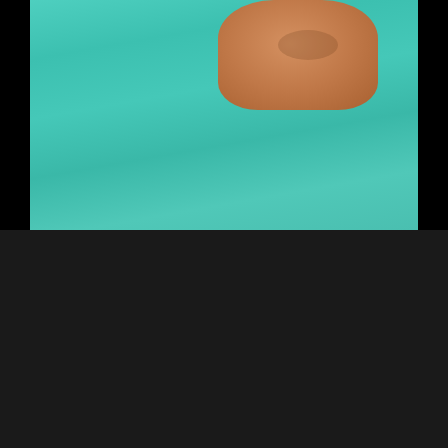[Figure (screenshot): Top portion of a YouTube video showing a close-up of an older man wearing teal/green medical scrubs, with face partially visible at the top right]
New York City Physician describ…
[Figure (screenshot): Bottom YouTube video thumbnail showing a man's face (middle-aged, brown hair) in what appears to be an office or clinical setting, with a red YouTube play button overlay visible at the bottom center]